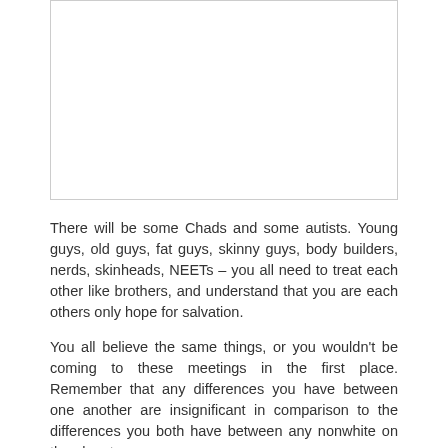[Figure (other): A blank/white image box with a light border at the top of the page.]
There will be some Chads and some autists. Young guys, old guys, fat guys, skinny guys, body builders, nerds, skinheads, NEETs – you all need to treat each other like brothers, and understand that you are each others only hope for salvation.
You all believe the same things, or you wouldn't be coming to these meetings in the first place. Remember that any differences you have between one another are insignificant in comparison to the differences you both have between any nonwhite on the planet.
And you should recognize that there are things you can learn from each other. And you should recognize there are things you can teach.
Always be as welcoming and kind to newcomers as you possibly can be. Some people are going to be really nervous, and don't